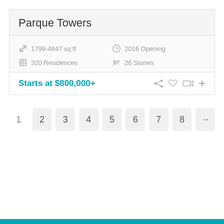Parque Towers
1799-4847 sq ft   2016 Opening   320 Residences   26 Stories
Starts at $800,000+
1  2  3  4  5  6  7  8  →